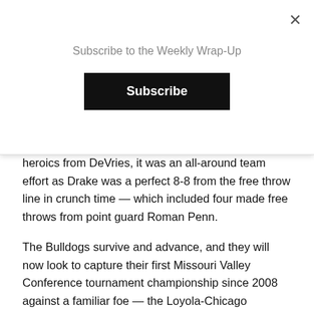Subscribe to the Weekly Wrap-Up
heroics from DeVries, it was an all-around team effort as Drake was a perfect 8-8 from the free throw line in crunch time — which included four made free throws from point guard Roman Penn.
The Bulldogs survive and advance, and they will now look to capture their first Missouri Valley Conference tournament championship since 2008 against a familiar foe — the Loyola-Chicago Ramblers who defeated the Bulldogs in last year's championship game.
Championship:
Loyola-Chicago defeated Drake 64-58 to earn an